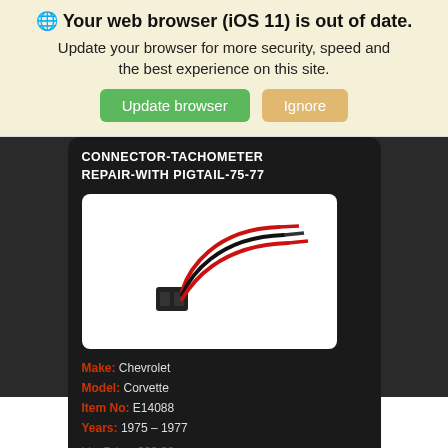🌐 Your web browser (iOS 11) is out of date. Update your browser for more security, speed and the best experience on this site.
Update browser | Ignore
CONNECTOR-TACHOMETER REPAIR-WITH PIGTAIL-75-77
[Figure (photo): A tachometer repair connector with pigtail wires (red and black) attached to a small black connector block, shown on white background.]
Make: Chevrolet
Model: Corvette
Item No: E14088
Years: 1975 – 1977
List Price: $20.00
Discount Price: $17.00